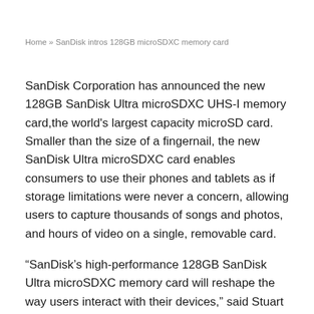Home » SanDisk intros 128GB microSDXC memory card
SanDisk Corporation has announced the new 128GB SanDisk Ultra microSDXC UHS-I memory card,the world's largest capacity microSD card. Smaller than the size of a fingernail, the new SanDisk Ultra microSDXC card enables consumers to use their phones and tablets as if storage limitations were never a concern, allowing users to capture thousands of songs and photos, and hours of video on a single, removable card.
“SanDisk’s high-performance 128GB SanDisk Ultra microSDXC memory card will reshape the way users interact with their devices,” said Stuart Robinson, director, Handset Component Technologies, Strategy Analytics. “Until now, consumers had to spread out their content between multiple